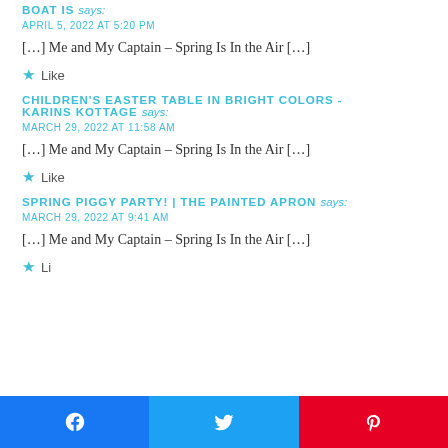BOAT IS says:
APRIL 5, 2022 AT 5:20 PM
[…] Me and My Captain – Spring Is In the Air […]
★ Like
CHILDREN'S EASTER TABLE IN BRIGHT COLORS - KARINS KOTTAGE says:
MARCH 29, 2022 AT 11:58 AM
[…] Me and My Captain – Spring Is In the Air […]
★ Like
SPRING PIGGY PARTY! | THE PAINTED APRON says:
MARCH 29, 2022 AT 9:41 AM
[…] Me and My Captain – Spring Is In the Air […]
★ Like (partial)